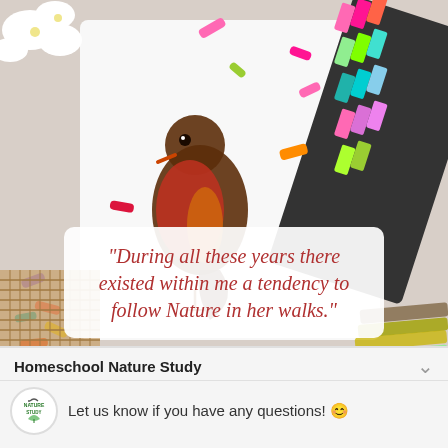[Figure (photo): Photo of a child's crayon/pastel drawing of a robin bird on white paper, surrounded by scattered colorful chalk pastels and a pastel color set box on the right side. White flowers visible in top left corner.]
“During all these years there existed within me a tendency to follow Nature in her walks.”
Homeschool Nature Study
Let us know if you have any questions! 😊